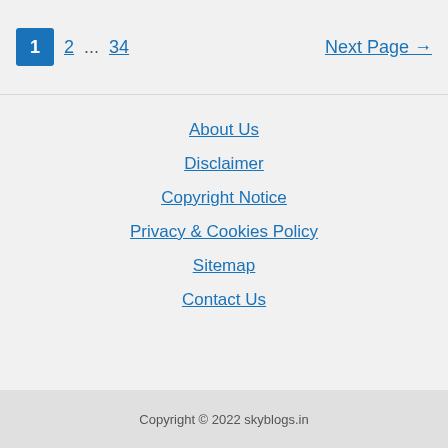1  2  ...  34  Next Page →
About Us
Disclaimer
Copyright Notice
Privacy & Cookies Policy
Sitemap
Contact Us
Copyright © 2022 skyblogs.in